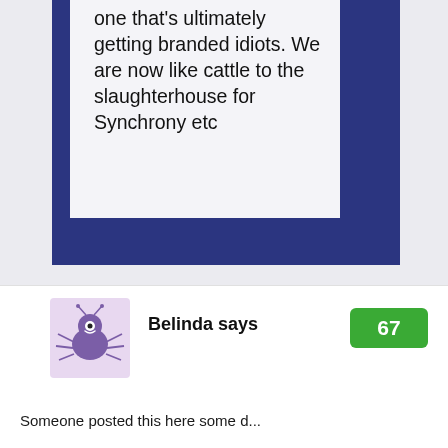one that's ultimately getting branded idiots. We are now like cattle to the slaughterhouse for Synchrony etc
Belinda says
67
[Figure (illustration): Purple cartoon spider avatar image with antennae and simple face on light lavender background]
Someone posted this here some d...